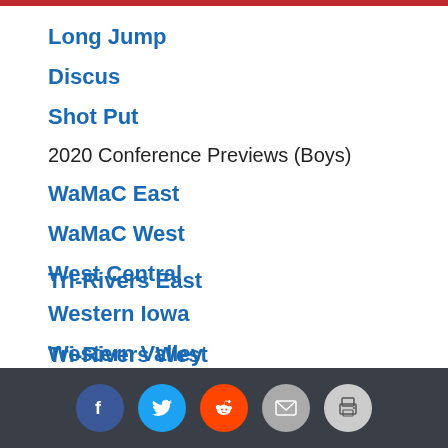Long Jump
Discus
Shot Put
2020 Conference Previews (Boys)
WaMaC East
WaMaC West
West Central
Western Iowa
Western Valley
Top of Iowa East
Top of Iowa West
Tri-Rivers East
Tri-Rivers West